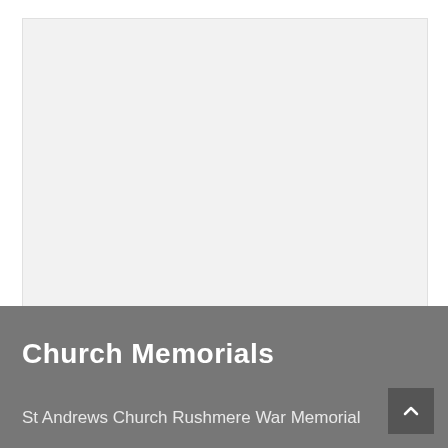[Figure (photo): Large empty image placeholder area with light grey background]
Church Memorials
St Andrews Church Rushmere War Memorial